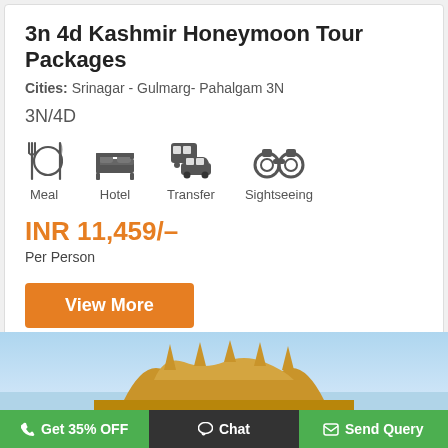3n 4d Kashmir Honeymoon Tour Packages
Cities: Srinagar - Gulmarg- Pahalgam 3N
3N/4D
[Figure (infographic): Icons for Meal, Hotel, Transfer, Sightseeing]
INR 11,459/–
Per Person
[Figure (photo): Photo of an ornate building (likely a palace or temple) with domes and spires, against a blue sky]
Get 35% OFF  Chat  Send Query